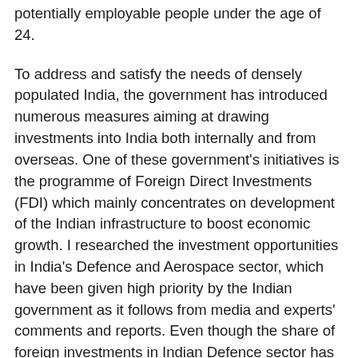potentially employable people under the age of 24.
To address and satisfy the needs of densely populated India, the government has introduced numerous measures aiming at drawing investments into India both internally and from overseas. One of these government's initiatives is the programme of Foreign Direct Investments (FDI) which mainly concentrates on development of the Indian infrastructure to boost economic growth. I researched the investment opportunities in India's Defence and Aerospace sector, which have been given high priority by the Indian government as it follows from media and experts' comments and reports. Even though the share of foreign investments in Indian Defence sector has been limited by the current FDI Regulations to 27 per cent there are a lot of business opportunities in India for the British Air Defence manufacturers especially now that India has diverted its attention from Russia for strategic partnership in defence sector and actively looks for cooperation from other countries. This presents a good opportunity for the declining to the public spending cuts, British Defence industry to invest into